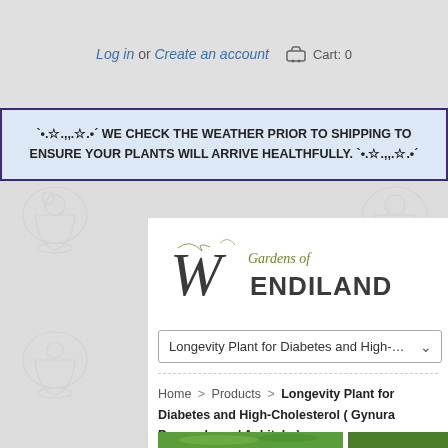Log in or Create an account  Cart: 0
✦.☆.,,.☆.✦ WE CHECK THE WEATHER PRIOR TO SHIPPING TO ENSURE YOUR PLANTS WILL ARRIVE HEALTHFULLY. ✦.☆.,,.☆.✦
[Figure (logo): Gardens of Wendiland logo with decorative script and serif text]
Longevity Plant for Diabetes and High-Cholest ∨
Home > Products > Longevity Plant for Diabetes and High-Cholesterol ( Gynura Procumbens / Ashitaba)
[Figure (photo): Green plant foliage photo strip at bottom]